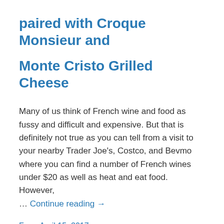paired with Croque Monsieur and
Monte Cristo Grilled Cheese
Many of us think of French wine and food as fussy and difficult and expensive. But that is definitely not true as you can tell from a visit to your nearby Trader Joe's, Costco, and Bevmo where you can find a number of French wines under $20 as well as heat and eat food. However, … Continue reading →
From April 15, 2017
Taco Tuesday: Mexican Mole with